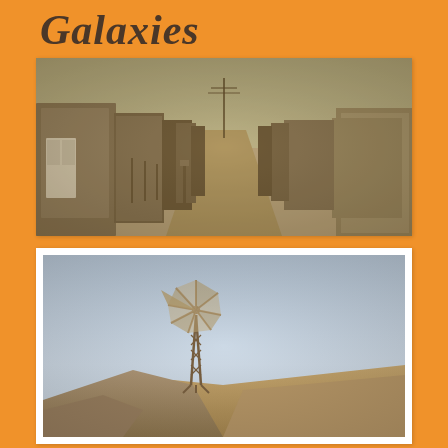Galaxies
[Figure (photo): Sepia-toned photo of a dusty desert street lined with small wooden shack buildings on both sides, converging to a vanishing point, with power lines and poles in the background]
[Figure (photo): Color photo of a vintage windmill standing on rocky/sandy terrain against a clear sky, with desert landscape in the background]